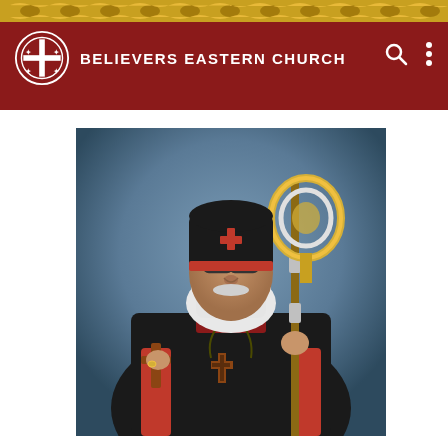BELIEVERS EASTERN CHURCH
[Figure (photo): Portrait of a senior Eastern church bishop with white beard, wearing black and red ecclesiastical robes and a black cap with red trim and a cross emblem, holding an ornate gold and silver bishop's staff (crozier) in his right hand and a wooden cross in his left hand, against a blue-grey studio background.]